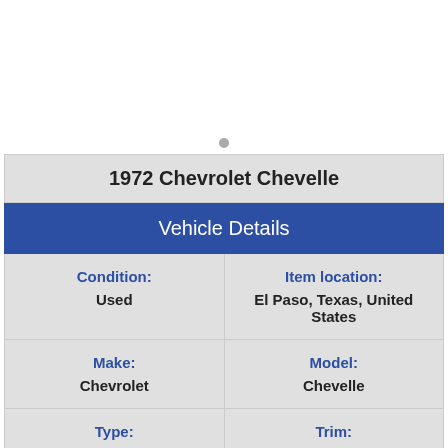1972 Chevrolet Chevelle
Vehicle Details
| Condition: | Item location: | Make: | Model: | Type: | Trim: |
| --- | --- | --- | --- | --- | --- |
| Used | El Paso, Texas, United States |
| Chevrolet | Chevelle |
| Coupe | Hardtop |